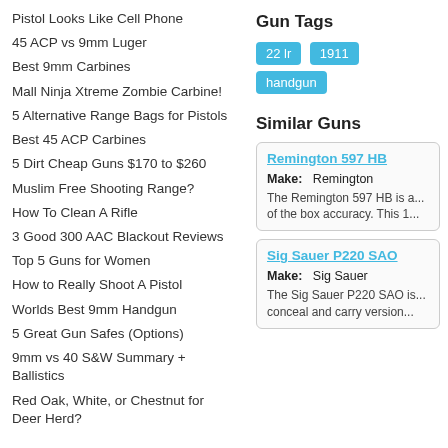Pistol Looks Like Cell Phone
45 ACP vs 9mm Luger
Best 9mm Carbines
Mall Ninja Xtreme Zombie Carbine!
5 Alternative Range Bags for Pistols
Best 45 ACP Carbines
5 Dirt Cheap Guns $170 to $260
Muslim Free Shooting Range?
How To Clean A Rifle
3 Good 300 AAC Blackout Reviews
Top 5 Guns for Women
How to Really Shoot A Pistol
Worlds Best 9mm Handgun
5 Great Gun Safes (Options)
9mm vs 40 S&W Summary + Ballistics
Red Oak, White, or Chestnut for Deer Herd?
Gun Tags
22 lr   1911   handgun
Similar Guns
Remington 597 HB
Make: Remington
The Remington 597 HB is a ... of the box accuracy. This 1...
Sig Sauer P220 SAO
Make: Sig Sauer
The Sig Sauer P220 SAO is ... conceal and carry version ...